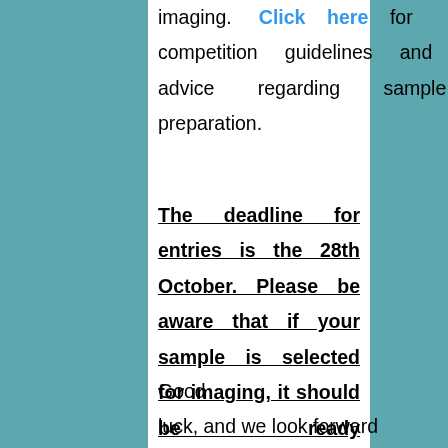imaging. Click here for competition guidelines and advice regarding sample preparation.
The deadline for entries is the 28th October. Please be aware that if your sample is selected for imaging, it should be ready to send during the week starting 2nd November.
Good luck, and we look forward to seeing striking SEM images of the winning samples at this